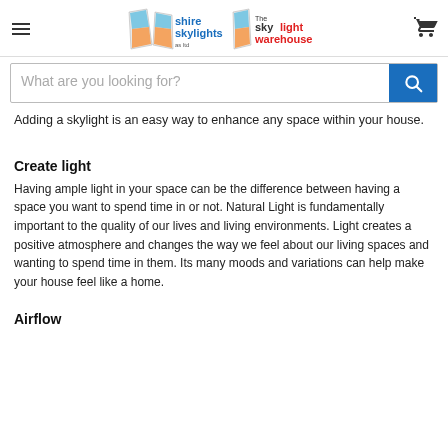shire skylights / The skylight warehouse
What are you looking for?
Adding a skylight is an easy way to enhance any space within your house.
Create light
Having ample light in your space can be the difference between having a space you want to spend time in or not. Natural Light is fundamentally important to the quality of our lives and living environments. Light creates a positive atmosphere and changes the way we feel about our living spaces and wanting to spend time in them. Its many moods and variations can help make your house feel like a home.
Airflow